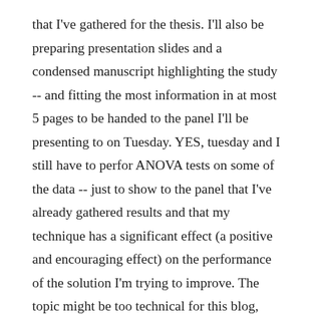that I've gathered for the thesis. I'll also be preparing presentation slides and a condensed manuscript highlighting the study -- and fitting the most information in at most 5 pages to be handed to the panel I'll be presenting to on Tuesday. YES, tuesday and I still have to perfor ANOVA tests on some of the data -- just to show to the panel that I've already gathered results and that my technique has a significant effect (a positive and encouraging effect) on the performance of the solution I'm trying to improve. The topic might be too technical for this blog, which reminds me why I should get a blog which allows me to post to different categories.
And I digress again. Basically, I'm blogging at 4 am in the morning before I sleep, because I just want to share to the world how I am so thankful to the Lord that I am able to